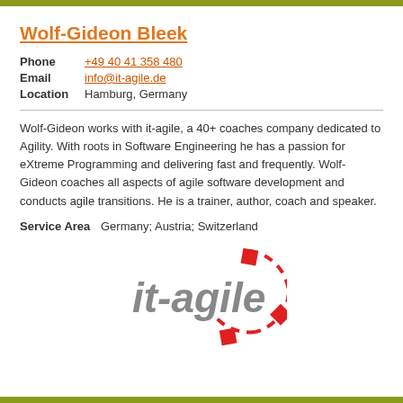Wolf-Gideon Bleek
Phone  +49 40 41 358 480
Email  info@it-agile.de
Location  Hamburg, Germany
Wolf-Gideon works with it-agile, a 40+ coaches company dedicated to Agility. With roots in Software Engineering he has a passion for eXtreme Programming and delivering fast and frequently. Wolf-Gideon coaches all aspects of agile software development and conducts agile transitions. He is a trainer, author, coach and speaker.
Service Area  Germany; Austria; Switzerland
[Figure (logo): it-agile company logo: italic text 'it-agile' in gray with a red dashed circular arc and red square accents forming a partial circle around it]